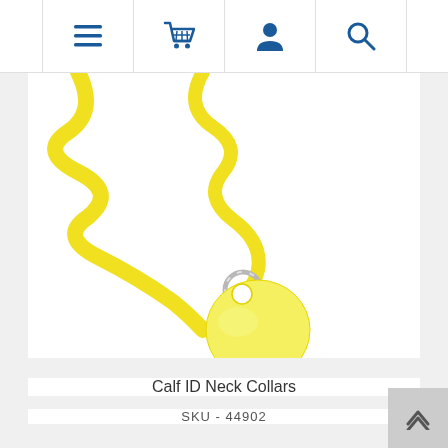Navigation bar with menu, cart, account, and search icons
[Figure (photo): A yellow calf ID neck collar consisting of a bright yellow plastic strap/ribbon and a round yellow plastic tag connected by a metal split ring, photographed on a white background.]
Calf ID Neck Collars
SKU - 44902